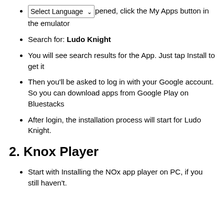Select Language [dropdown] pened, click the My Apps button in the emulator
Search for: Ludo Knight
You will see search results for the App. Just tap Install to get it
Then you'll be asked to log in with your Google account. So you can download apps from Google Play on Bluestacks
After login, the installation process will start for Ludo Knight.
2. Knox Player
Start with Installing the NOx app player on PC, if you still haven't.